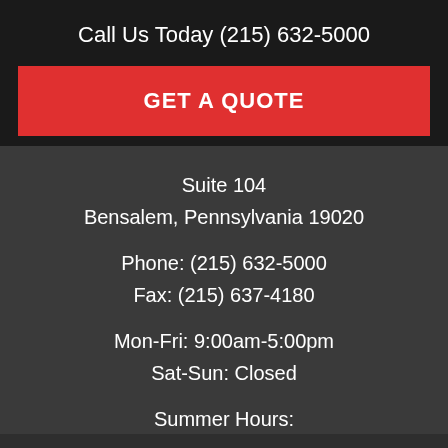Call Us Today (215) 632-5000
GET A QUOTE
Suite 104
Bensalem, Pennsylvania 19020
Phone: (215) 632-5000
Fax: (215) 637-4180
Mon-Fri: 9:00am-5:00pm
Sat-Sun: Closed
Summer Hours: